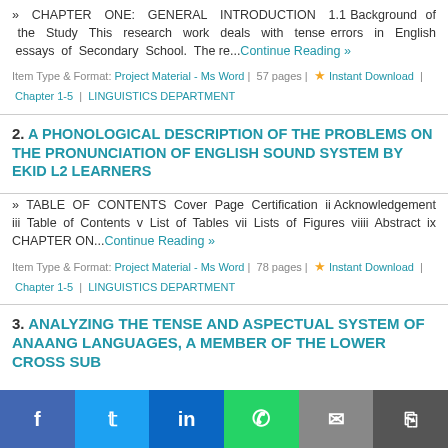» CHAPTER ONE: GENERAL INTRODUCTION 1.1 Background of the Study This research work deals with tense errors in English essays of Secondary School. The re... Continue Reading »
Item Type & Format: Project Material - Ms Word | 57 pages | ★ Instant Download | Chapter 1-5 | LINGUISTICS DEPARTMENT
2. A PHONOLOGICAL DESCRIPTION OF THE PROBLEMS ON THE PRONUNCIATION OF ENGLISH SOUND SYSTEM BY EKID L2 LEARNERS
» TABLE OF CONTENTS Cover Page Certification ii Acknowledgement iii Table of Contents v List of Tables vii Lists of Figures viiii Abstract ix CHAPTER ON... Continue Reading »
Item Type & Format: Project Material - Ms Word | 78 pages | ★ Instant Download | Chapter 1-5 | LINGUISTICS DEPARTMENT
3. ANALYZING THE TENSE AND ASPECTUAL SYSTEM OF ANAANG LANGUAGES, A MEMBER OF THE LOWER CROSS SUB